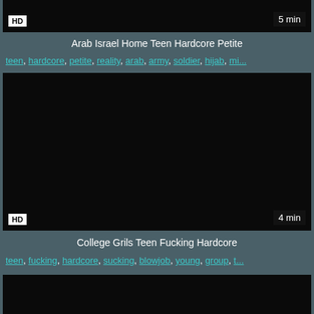[Figure (screenshot): Video thumbnail black with HD badge bottom-left and 5 min badge bottom-right]
Arab Israel Home Teen Hardcore Petite
teen, hardcore, petite, reality, arab, army, soldier, hijab, mi...
[Figure (screenshot): Video thumbnail black with HD badge bottom-left and 4 min badge bottom-right]
College Grils Teen Fucking Hardcore
teen, fucking, hardcore, sucking, blowjob, young, group, t...
[Figure (screenshot): Video thumbnail black, partial view at bottom of page]